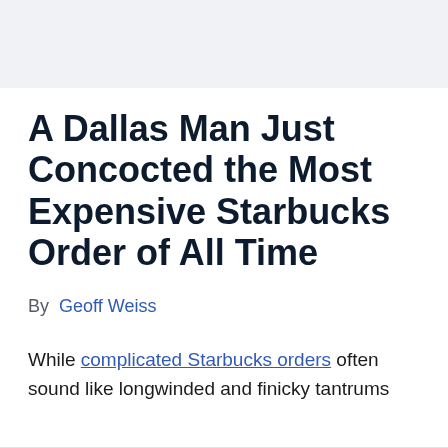A Dallas Man Just Concocted the Most Expensive Starbucks Order of All Time
By Geoff Weiss
While complicated Starbucks orders often sound like longwinded and finicky tantrums